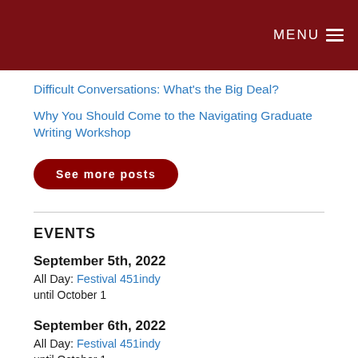MENU
Difficult Conversations: What's the Big Deal?
Why You Should Come to the Navigating Graduate Writing Workshop
See more posts
EVENTS
September 5th, 2022
All Day: Festival 451indy
until October 1
September 6th, 2022
All Day: Festival 451indy
until October 1
September 7th, 2022
All Day: Festival 451indy